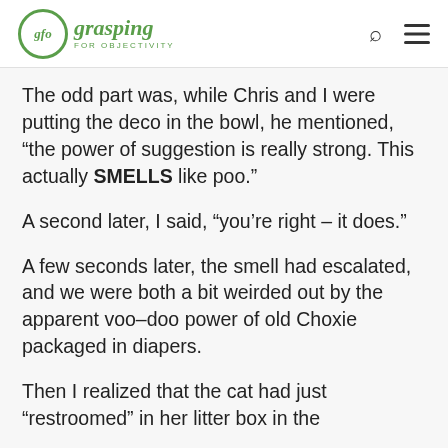gfo grasping FOR OBJECTIVITY
The odd part was, while Chris and I were putting the deco in the bowl, he mentioned, “the power of suggestion is really strong. This actually SMELLS like poo.”
A second later, I said, “you’re right – it does.”
A few seconds later, the smell had escalated, and we were both a bit weirded out by the apparent voo-doo power of old Choxie packaged in diapers.
Then I realized that the cat had just “restroomed” in her litter box in the